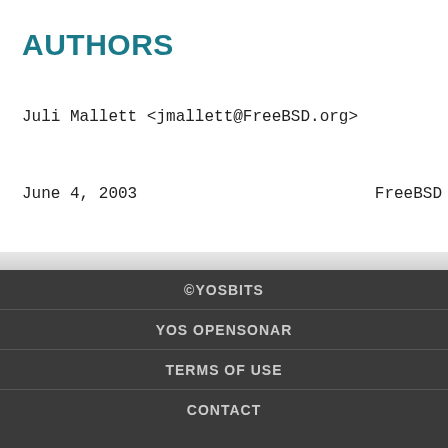AUTHORS
Juli Mallett <jmallett@FreeBSD.org>
June 4, 2003    FreeBSD
©YOSBITS
YOS OPENSONAR
TERMS OF USE
CONTACT